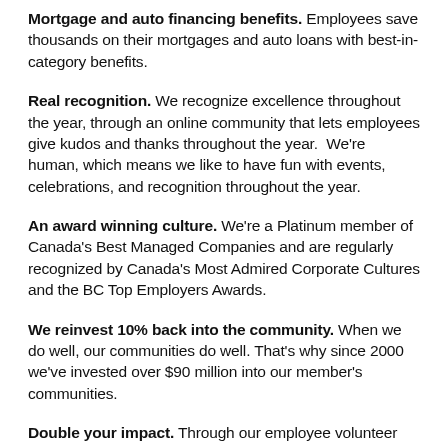Mortgage and auto financing benefits. Employees save thousands on their mortgages and auto loans with best-in-category benefits.
Real recognition. We recognize excellence throughout the year, through an online community that lets employees give kudos and thanks throughout the year.  We're human, which means we like to have fun with events, celebrations, and recognition throughout the year.
An award winning culture. We're a Platinum member of Canada's Best Managed Companies and are regularly recognized by Canada's Most Admired Corporate Cultures and the BC Top Employers Awards.
We reinvest 10% back into the community. When we do well, our communities do well. That's why since 2000 we've invested over $90 million into our member's communities.
Double your impact. Through our employee volunteer